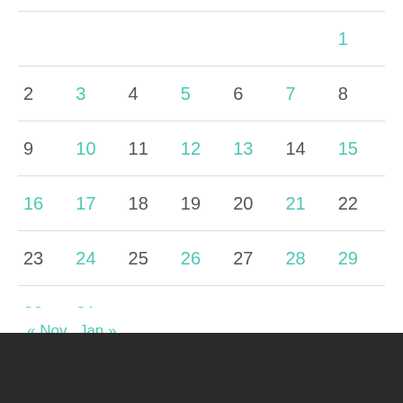| Sun | Mon | Tue | Wed | Thu | Fri | Sat |
| --- | --- | --- | --- | --- | --- | --- |
|  |  |  |  |  |  | 1 |
| 2 | 3 | 4 | 5 | 6 | 7 | 8 |
| 9 | 10 | 11 | 12 | 13 | 14 | 15 |
| 16 | 17 | 18 | 19 | 20 | 21 | 22 |
| 23 | 24 | 25 | 26 | 27 | 28 | 29 |
| 30 | 31 |  |  |  |  |  |
« Nov   Jan »
BLOG AT WORDPRESS.COM.